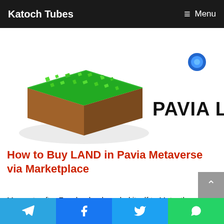Katoch Tubes  ☰ Menu
[Figure (illustration): 3D isometric pixel-art green land tile with brown earth sides (Pavia LAND logo) on white background, with text 'PAVIA LAND' in large black letters to the right]
How to Buy LAND in Pavia Metaverse via Marketplace
Moments after Facebook rebranded itself to Meta, the crypto Metaverse projects picked up steam. Projects like Decentraland (MANA) and Sandbox crypto (SAND) were the top gainers riding the
Telegram | Facebook | Twitter | WhatsApp